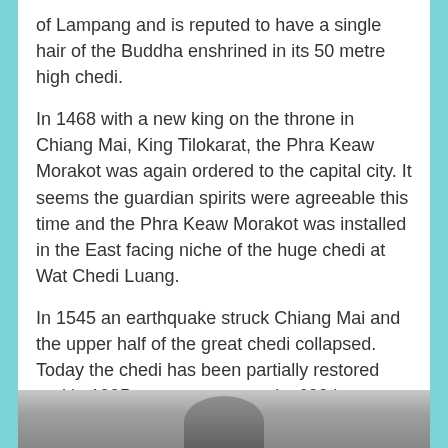of Lampang and is reputed to have a single hair of the Buddha enshrined in its 50 metre high chedi.
In 1468 with a new king on the throne in Chiang Mai, King Tilokarat, the Phra Keaw Morakot was again ordered to the capital city. It seems the guardian spirits were agreeable this time and the Phra Keaw Morakot was installed in the East facing niche of the huge chedi at Wat Chedi Luang.
In 1545 an earthquake struck Chiang Mai and the upper half of the great chedi collapsed. Today the chedi has been partially restored and in 1995 to commemorate its 600th anniversary a copy of the Phra Keaw Morakot made from black jade, called Phra Phut Chaloem Siriracha, was installed in the East facing niche.
[Figure (photo): Bottom portion of a photograph showing what appears to be a dark statue or figure, partially visible at the bottom of the page.]